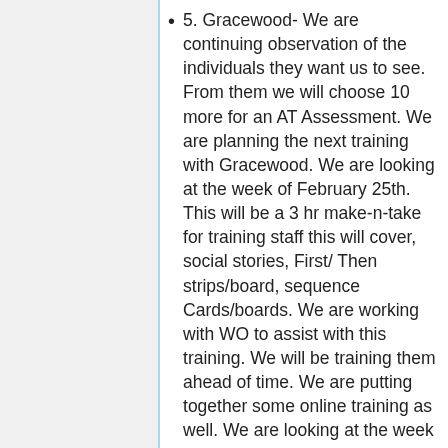5. Gracewood- We are continuing observation of the individuals they want us to see. From them we will choose 10 more for an AT Assessment. We are planning the next training with Gracewood. We are looking at the week of February 25th. This will be a 3 hr make-n-take for training staff this will cover, social stories, First/ Then strips/board, sequence Cards/boards. We are working with WO to assist with this training. We will be training them ahead of time. We are putting together some online training as well. We are looking at the week of Jan 18th or 28th to train WO. WO will also be doing the follow-up after our training with Gracewood. They will check in with Gracewood once a